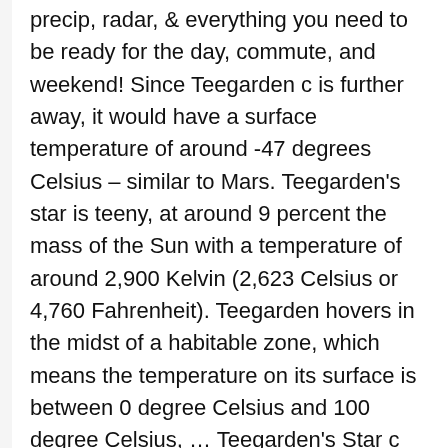precip, radar, & everything you need to be ready for the day, commute, and weekend! Since Teegarden c is further away, it would have a surface temperature of around -47 degrees Celsius – similar to Mars. Teegarden's star is teeny, at around 9 percent the mass of the Sun with a temperature of around 2,900 Kelvin (2,623 Celsius or 4,760 Fahrenheit). Teegarden hovers in the midst of a habitable zone, which means the temperature on its surface is between 0 degree Celsius and 100 degree Celsius, … Teegarden's Star c probably has an ocean of water on surface, or ice because of temperatures.[2]. The temperature is estimated to be … Teegarden's Star is an ultra-cool red dwarf at around 9 percent the mass of the Sun with a temperature of around 2,900 Kelvin (2,623 Å°C or 4,760 F). The outermost planet Teegarden c only has a 3% chance of having a temperate surface